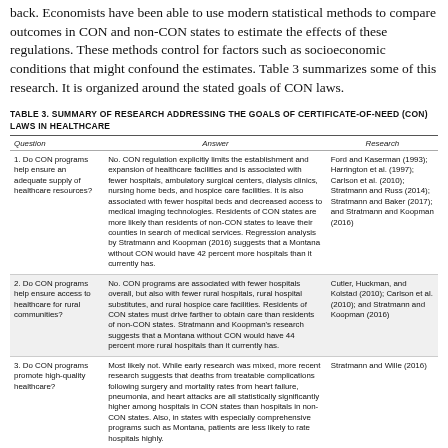back. Economists have been able to use modern statistical methods to compare outcomes in CON and non-CON states to estimate the effects of these regulations. These methods control for factors such as socioeconomic conditions that might confound the estimates. Table 3 summarizes some of this research. It is organized around the stated goals of CON laws.
TABLE 3. SUMMARY OF RESEARCH ADDRESSING THE GOALS OF CERTIFICATE-OF-NEED (CON) LAWS IN HEALTHCARE
| Question | Answer | Research |
| --- | --- | --- |
| 1. Do CON programs help ensure an adequate supply of healthcare resources? | No. CON regulation explicitly limits the establishment and expansion of healthcare facilities and is associated with fewer hospitals, ambulatory surgical centers, dialysis clinics, nursing home beds, and hospice care facilities. It is also associated with fewer hospital beds and decreased access to medical imaging technologies. Residents of CON states are more likely than residents of non-CON states to leave their counties in search of medical services. Regression analysis by Stratmann and Koopman (2016) suggests that a Montana without CON would have 42 percent more hospitals than it currently has. | Ford and Kaserman (1993); Harrington et al. (1997); Carlson et al. (2010); Stratmann and Russ (2014); Stratmann and Baker (2017); and Stratmann and Koopman (2016) |
| 2. Do CON programs help ensure access to healthcare for rural communities? | No. CON programs are associated with fewer hospitals overall, but also with fewer rural hospitals, rural hospital substitutes, and rural hospice care facilities. Residents of CON states must drive farther to obtain care than residents of non-CON states. Stratmann and Koopman's research suggests that a Montana without CON would have 44 percent more rural hospitals than it currently has. | Cutler, Huckman, and Kolstad (2010); Carlson et al. (2010); and Stratmann and Koopman (2016) |
| 3. Do CON programs promote high-quality healthcare? | Most likely not. While early research was mixed, more recent research suggests that deaths from treatable complications following surgery and mortality rates from heart failure, pneumonia, and heart attacks are all statistically significantly higher among hospitals in CON states than hospitals in non-CON states. Also, in states with especially comprehensive programs such as Montana, patients are less likely to rate hospitals highly. | Stratmann and Wille (2016) |